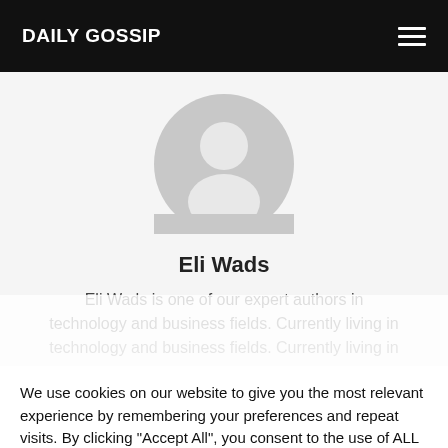DAILY GOSSIP
[Figure (illustration): Generic user avatar: grey circle with white silhouette of a person (head and shoulders)]
Eli Wads
Eli Wads is one of our expert authors in technology and business fields. Currently living in
We use cookies on our website to give you the most relevant experience by remembering your preferences and repeat visits. By clicking "Accept All", you consent to the use of ALL the cookies. However, you may visit "Cookie Settings" to provide a controlled consent.